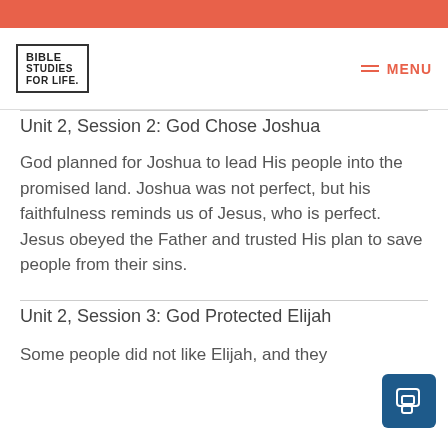BIBLE STUDIES FOR LIFE. MENU
Unit 2, Session 2: God Chose Joshua
God planned for Joshua to lead His people into the promised land. Joshua was not perfect, but his faithfulness reminds us of Jesus, who is perfect. Jesus obeyed the Father and trusted His plan to save people from their sins.
Unit 2, Session 3: God Protected Elijah
Some people did not like Elijah, and they